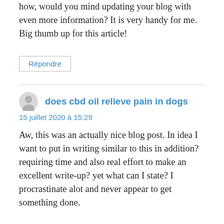how, would you mind updating your blog with even more information? It is very handy for me. Big thumb up for this article!
Répondre
does cbd oil relieve pain in dogs
15 juillet 2020 à 15:29
Aw, this was an actually nice blog post. In idea I want to put in writing similar to this in addition? requiring time and also real effort to make an excellent write-up? yet what can I state? I procrastinate alot and never appear to get something done.